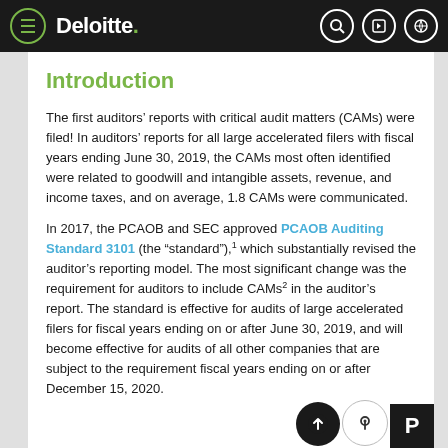Deloitte.
Introduction
The first auditors’ reports with critical audit matters (CAMs) were filed! In auditors’ reports for all large accelerated filers with fiscal years ending June 30, 2019, the CAMs most often identified were related to goodwill and intangible assets, revenue, and income taxes, and on average, 1.8 CAMs were communicated.
In 2017, the PCAOB and SEC approved PCAOB Auditing Standard 3101 (the “standard”),¹ which substantially revised the auditor’s reporting model. The most significant change was the requirement for auditors to include CAMs² in the auditor’s report. The standard is effective for audits of large accelerated filers for fiscal years ending on or after June 30, 2019, and will become effective for audits of all other companies that are subject to the requirement fiscal years ending on or after December 15, 2020.